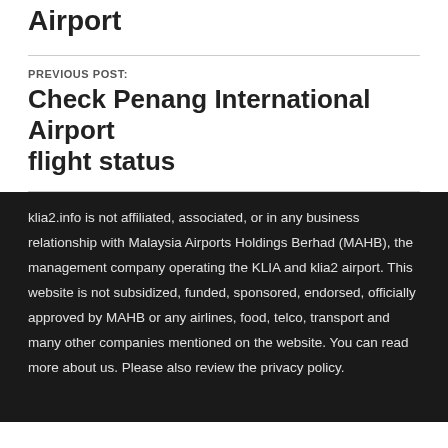Airport
PREVIOUS POST:
Check Penang International Airport flight status
klia2.info is not affiliated, associated, or in any business relationship with Malaysia Airports Holdings Berhad (MAHB), the management company operating the KLIA and klia2 airport. This website is not subsidized, funded, sponsored, endorsed, officially approved by MAHB or any airlines, food, telco, transport and many other companies mentioned on the website. You can read more about us. Please also review the privacy policy.